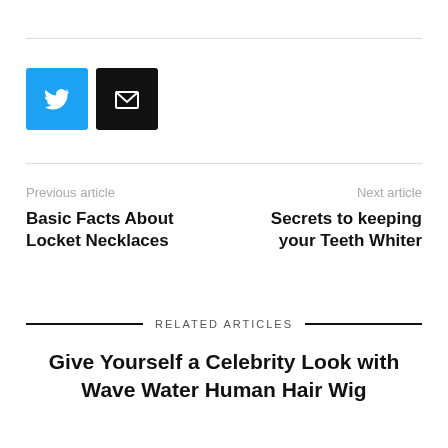[Figure (other): Twitter share button (cyan square with white bird icon) and Email share button (black square with white envelope icon)]
Previous article
Basic Facts About Locket Necklaces
Next article
Secrets to keeping your Teeth Whiter
RELATED ARTICLES
Give Yourself a Celebrity Look with Wave Water Human Hair Wig